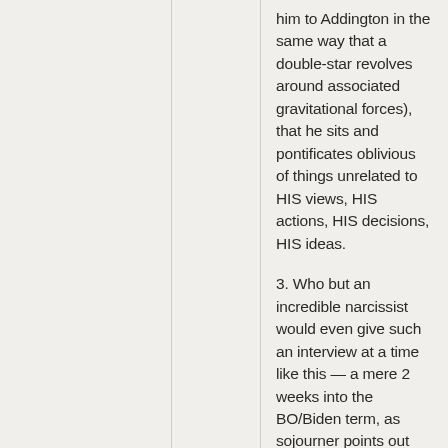him to Addington in the same way that a double-star revolves around associated gravitational forces), that he sits and pontificates oblivious of things unrelated to HIS views, HIS actions, HIS decisions, HIS ideas.
3. Who but an incredible narcissist would even give such an interview at a time like this — a mere 2 weeks into the BO/Biden term, as sojourner points out